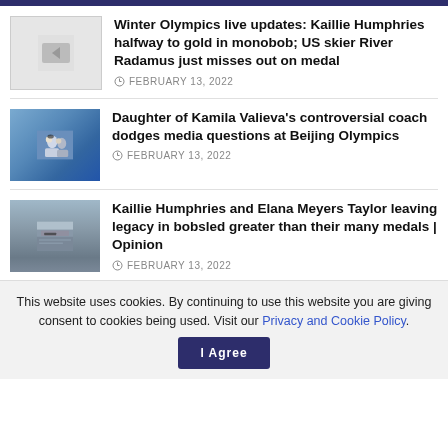Winter Olympics live updates: Kaillie Humphries halfway to gold in monobob; US skier River Radamus just misses out on medal
FEBRUARY 13, 2022
[Figure (photo): Placeholder image thumbnail for article 1]
Daughter of Kamila Valieva’s controversial coach dodges media questions at Beijing Olympics
FEBRUARY 13, 2022
[Figure (photo): Photo of figure skaters at Beijing Olympics]
Kaillie Humphries and Elana Meyers Taylor leaving legacy in bobsled greater than their many medals | Opinion
FEBRUARY 13, 2022
[Figure (photo): Photo related to bobsled article]
This website uses cookies. By continuing to use this website you are giving consent to cookies being used. Visit our Privacy and Cookie Policy.